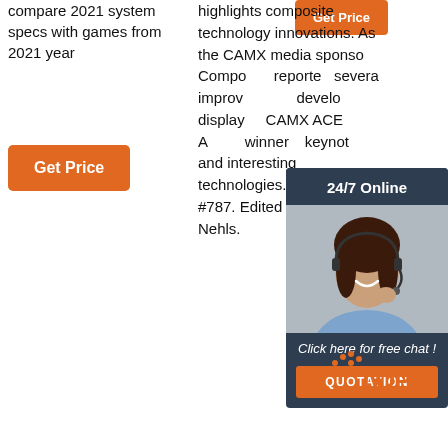compare 2021 system specs with games from 2021 year
[Figure (other): Orange 'Get Price' button (top right area)]
[Figure (other): Orange 'Get Price' button (left column)]
highlights composite technology innovations. As the CAMX media sponsor Composite reported several improvements developed, displayed CAMX ACE Award winners, keynote and interesting technologies. #camx #ndi #787. Edited by Grace Nehls.
[Figure (other): 24/7 Online chat widget with female customer service representative photo, 'Click here for free chat!' text, and QUOTATION button]
[Figure (logo): TOP logo with orange dots]